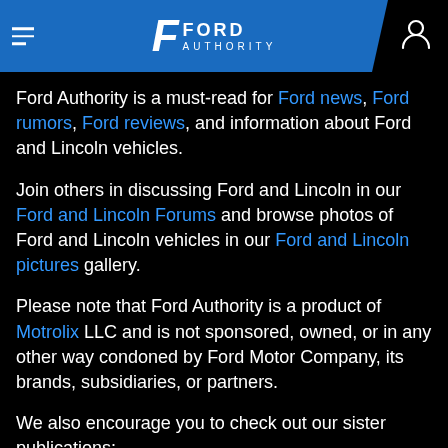Ford Authority
Ford Authority is a must-read for Ford news, Ford rumors, Ford reviews, and information about Ford and Lincoln vehicles.
Join others in discussing Ford and Lincoln in our Ford and Lincoln Forums and browse photos of Ford and Lincoln vehicles in our Ford and Lincoln pictures gallery.
Please note that Ford Authority is a product of Motrolix LLC and is not sponsored, owned, or in any other way condoned by Ford Motor Company, its brands, subsidiaries, or partners.
We also encourage you to check out our sister publications:
GM Authority for the latest GM News and GM ...